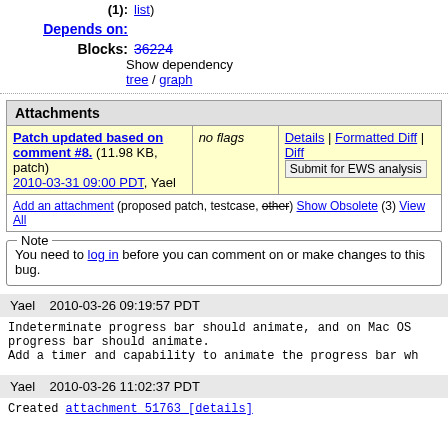(1): list)
Depends on:
Blocks: 36224
Show dependency
tree / graph
| Attachments |
| --- |
| Patch updated based on comment #8. (11.98 KB, patch) 2010-03-31 09:00 PDT, Yael | no flags | Details | Formatted Diff | Diff
Submit for EWS analysis |
| Add an attachment (proposed patch, testcase, other) Show Obsolete (3) View All |  |  |
Note
You need to log in before you can comment on or make changes to this bug.
Yael    2010-03-26 09:19:57 PDT
Indeterminate progress bar should animate, and on Mac OS progress bar should animate.
Add a timer and capability to animate the progress bar wh
Yael    2010-03-26 11:02:37 PDT
Created attachment 51763 [details]